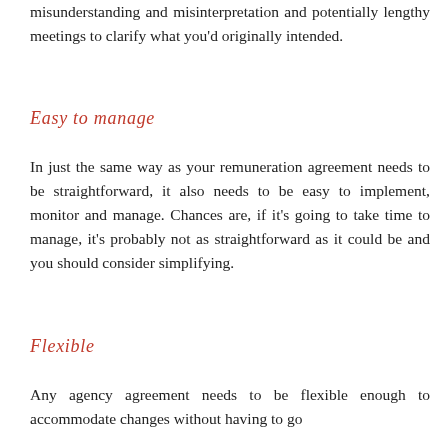misunderstanding and misinterpretation and potentially lengthy meetings to clarify what you'd originally intended.
Easy to manage
In just the same way as your remuneration agreement needs to be straightforward, it also needs to be easy to implement, monitor and manage. Chances are, if it's going to take time to manage, it's probably not as straightforward as it could be and you should consider simplifying.
Flexible
Any agency agreement needs to be flexible enough to accommodate changes without having to go